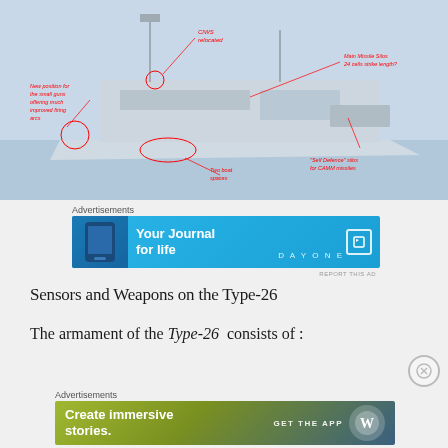[Figure (illustration): Annotated diagram of a Type-26 frigate (naval warship) with red callout labels indicating: 'CIWS relocated', 'New position for the small guns offering much improved firing arcs', 'Two boat spaces', 'Main Missile Silos 24 cells strike length?', 'Self Defence silos for CAMM missiles']
Advertisements
[Figure (infographic): Day One app advertisement banner with cyan/blue background, phone image on left, text 'Your Journal for life', DAYONE branding and bookmark icon on right]
REPORT THIS AD
Sensors and Weapons on the Type-26
The armament of the Type-26  consists of :
Advertisements
[Figure (infographic): WordPress advertisement banner with gradient green-blue background, text 'Create immersive stories.', 'GET THE APP' and WordPress logo on right]